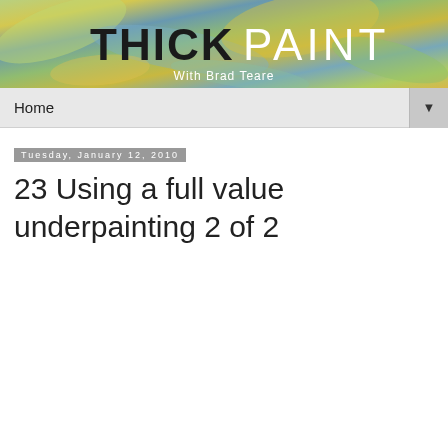[Figure (illustration): Thick Paint with Brad Teare blog header banner — colorful impasto painting texture background with 'THICK PAINT' in large bold/light text and 'With Brad Teare' subtitle]
Home ▼
Tuesday, January 12, 2010
23 Using a full value underpainting 2 of 2